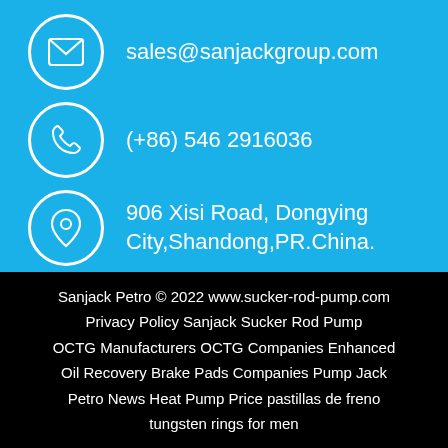[Figure (infographic): Blue contact info section with email icon, phone icon, and location pin icon in white circles, each with corresponding contact details in white text]
sales@sanjackgroup.com
(+86) 546 2916036
906 Xisi Road, Dongying City,Shandong,PR.China.
Sanjack Petro © 2022 www.sucker-rod-pump.com Privacy Policy Sanjack Sucker Rod Pump OCTG Manufacturers OCTG Companies Enhanced Oil Recovery Brake Pads Companies Pump Jack Petro News Heat Pump Price pastillas de freno tungsten rings for men